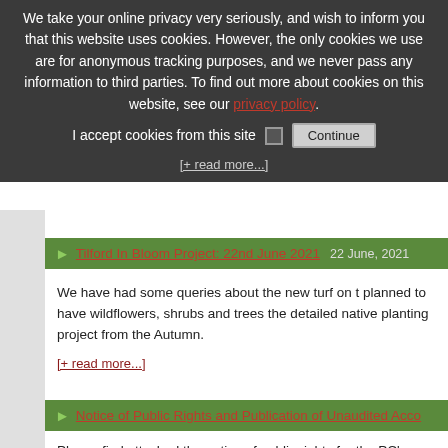We take your online privacy very seriously, and wish to inform you that this website uses cookies. However, the only cookies we use are for anonymous tracking purposes, and we never pass any information to third parties. To find out more about cookies on this website, see our privacy policy.
I accept cookies from this site  Continue
[+ read more...]
Tilford In Bloom Project: 22nd June 2021   22 June, 2021
We have had some queries about the new turf on t planned to have wildflowers, shrubs and trees the detailed native planting project from the Autumn.
[+ read more...]
Notice of Public Rights and Publication of Unaudited Acco
Please find attached the notice of public rights for the PC's u